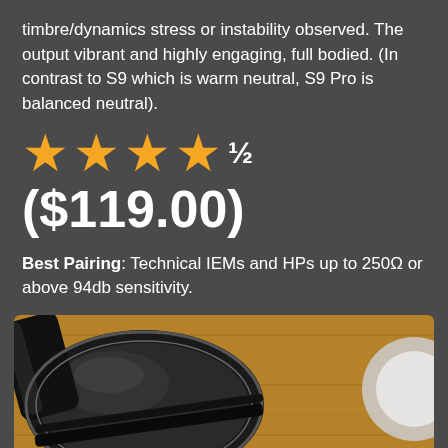timbre/dynamics stress or instability observed. The output vibrant and highly engaging, full bodied. (In contrast to S9 which is warm neutral, S9 Pro is balanced neutral).
[Figure (other): 4.5 star rating shown as 4 gold stars and a half symbol]
($119.00)
Best Pairing: Technical IEMs and HPs up to 250Ω or above 94db sensitivity.
[Figure (photo): Close-up photo of over-ear headphones resting on a wooden surface, showing black earcup padding and headband detail.]